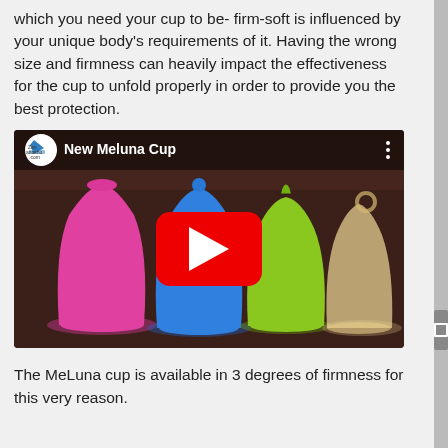which you need your cup to be- firm-soft is influenced by your unique body's requirements of it. Having the wrong size and firmness can heavily impact the effectiveness for the cup to unfold properly in order to provide you the best protection.
[Figure (screenshot): YouTube video thumbnail showing four MeLuna menstrual cups of different colors (pink, blue, green, clear/tan) with a YouTube play button overlay. Title reads 'New Meluna Cup'. Channel name partially visible as 'Zanasho.com'.]
The MeLuna cup is available in 3 degrees of firmness for this very reason.